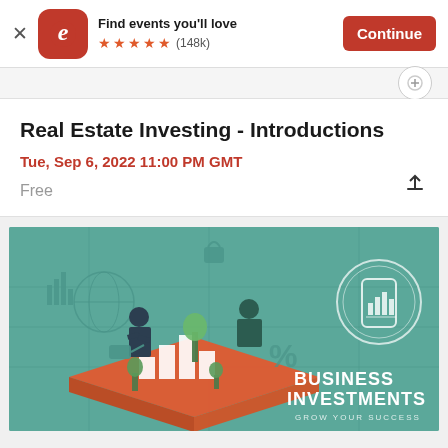Find events you'll love ★★★★★ (148k) Continue
Real Estate Investing - Introductions
Tue, Sep 6, 2022 11:00 PM GMT
Free
[Figure (illustration): Business Investments promotional illustration showing two business people on a large tablet/smartphone with bar charts, plants, and icons. Text reads BUSINESS INVESTMENTS GROW YOUR SUCCESS on a teal/green background.]